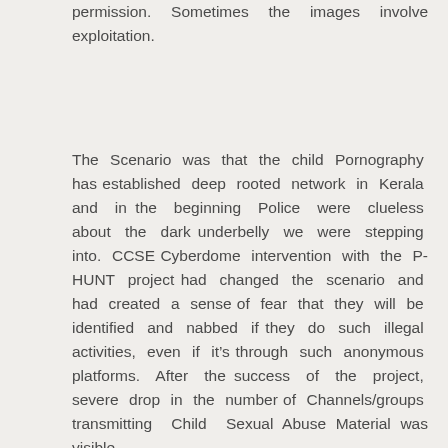permission. Sometimes the images involve exploitation.
The Scenario was that the child Pornography has established deep rooted network in Kerala and in the beginning Police were clueless about the dark underbelly we were stepping into. CCSE Cyberdome intervention with the P-HUNT project had changed the scenario and had created a sense of fear that they will be identified and nabbed if they do such illegal activities, even if it&rsquos through such anonymous platforms. After the success of the project, severe drop in the number of Channels/groups transmitting Child Sexual Abuse Material was visible.